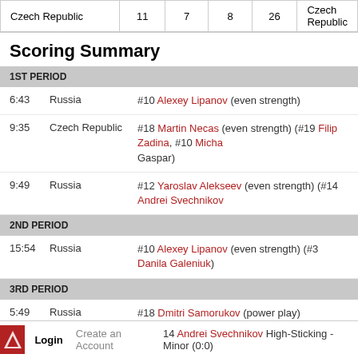| Czech Republic | 11 | 7 | 8 | 26 | Czech Republic |
| --- | --- | --- | --- | --- | --- |
Scoring Summary
| 1ST PERIOD |  |  |
| 6:43 | Russia | #10 Alexey Lipanov (even strength) |
| 9:35 | Czech Republic | #18 Martin Necas (even strength) (#19 Filip Zadina, #10 Micha Gaspar) |
| 9:49 | Russia | #12 Yaroslav Alekseev (even strength) (#14 Andrei Svechnikov |
| 2ND PERIOD |  |  |
| 15:54 | Russia | #10 Alexey Lipanov (even strength) (#3 Danila Galeniuk) |
| 3RD PERIOD |  |  |
| 5:49 | Russia | #18 Dmitri Samorukov (power play) |
| 17:03 | Russia | #19 Ivan Chekhovich (power play) (#4 Aleksander Alexeev, #5 Kazamanov) |
| 17:38 | Russia | #12 Yaroslav Alekseev (even strength) (#14 Andrei Svechnikov Aleksander Osin) |
Penalty Summary
1ST PERIOD
14 Andrei Svechnikov High-Sticking - Minor (0:0)